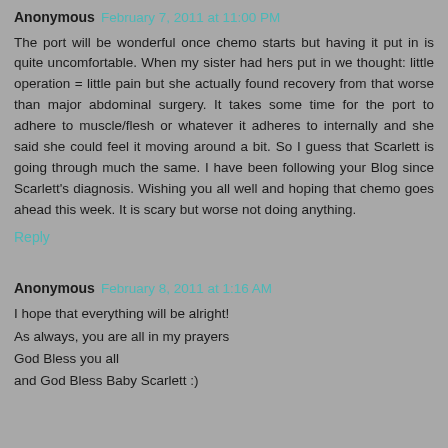Anonymous February 7, 2011 at 11:00 PM
The port will be wonderful once chemo starts but having it put in is quite uncomfortable. When my sister had hers put in we thought: little operation = little pain but she actually found recovery from that worse than major abdominal surgery. It takes some time for the port to adhere to muscle/flesh or whatever it adheres to internally and she said she could feel it moving around a bit. So I guess that Scarlett is going through much the same. I have been following your Blog since Scarlett's diagnosis. Wishing you all well and hoping that chemo goes ahead this week. It is scary but worse not doing anything.
Reply
Anonymous February 8, 2011 at 1:16 AM
I hope that everything will be alright!
As always, you are all in my prayers
God Bless you all
and God Bless Baby Scarlett :)